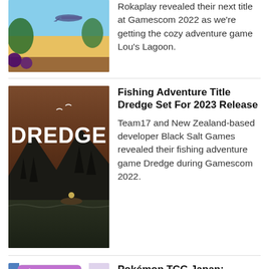[Figure (screenshot): Screenshot of Lou's Lagoon cozy adventure game showing colorful seaside scene]
Rokaplay revealed their next title at Gamescom 2022 as we're getting the cozy adventure game Lou's Lagoon.
[Figure (screenshot): Screenshot of Dredge fishing adventure game showing dark moody scene with DREDGE title text]
Fishing Adventure Title Dredge Set For 2023 Release
Team17 and New Zealand-based developer Black Salt Games revealed their fishing adventure game Dredge during Gamescom 2022.
[Figure (screenshot): Pokemon TCG card image showing Tapu Lele card with Japanese text カプ・テテフ and HP 110]
Pokémon TCG Japan: Incandescent Arcana Preview: Tapu Lele
Artist Saya Tsuruta contributes